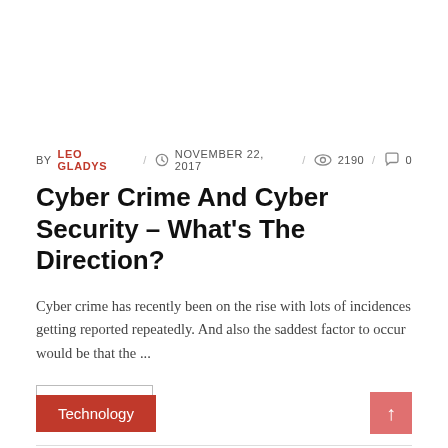BY LEO GLADYS / NOVEMBER 22, 2017 / 2190 / 0
Cyber Crime And Cyber Security – What's The Direction?
Cyber crime has recently been on the rise with lots of incidences getting reported repeatedly. And also the saddest factor to occur would be that the ...
READ MORE
Technology